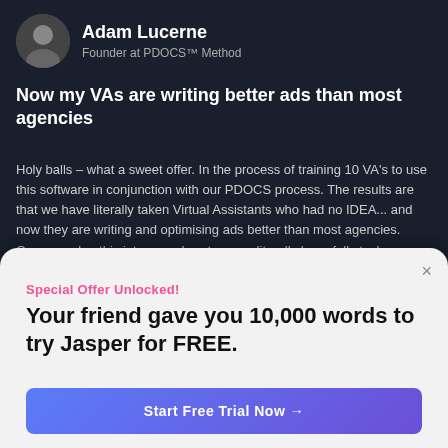[Figure (photo): Circular avatar photo of Adam Lucerne, a man in a dark shirt]
Adam Lucerne
Founder at PDOCS™ Method
Now my VAs are writing better ads than most agencies
Holy balls – what a sweet offer. In the process of training 10 VA's to use this software in conjunction with our PDOCS process. The results are that we have literally taken Virtual Assistants who had no IDEA... and now they are writing and optimising ads better than most agencies. Once we plug this into our ad system, we literally have full stack marketing teams with 90%+ margins. Wild time to be alive.
Coaching
Special Offer Unlocked!
Your friend gave you 10,000 words to try Jasper for FREE.
Start Free Trial Now →